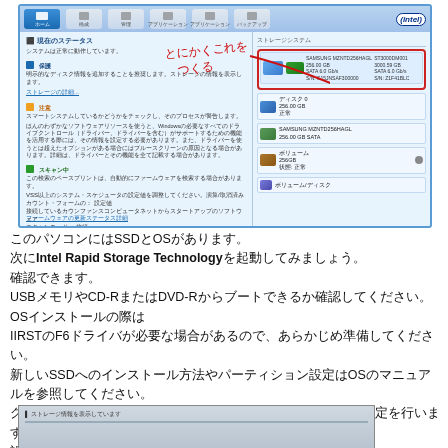[Figure (screenshot): Intel Rapid Storage Technology software interface screenshot showing drive status panel with Japanese text, toolbar icons, left content panel with status sections, and right panel showing drive list. Red handwritten annotation in Japanese pointing to highlighted drive area.]
このパソコンにはSSDとOSがあります。次にIntel Rapid Storage Technologyを起動してみましょう。確認できます。USBメモリやCD-RまたはDVD-Rからブートできるか確認してください。OSインストールの際はIRSTのF6ドライバが必要な場合があるので、あらかじめ準備してください。新しいSSDへのインストール方法やパーティション設定はOSのマニュアルを参照してください。クリーンインストール後はHDDへのアクセスやデータ移行の設定を行います。設定完了後に確認してください。
[Figure (screenshot): Partial screenshot at bottom of page showing a software window with Japanese text, gray/blue tones.]